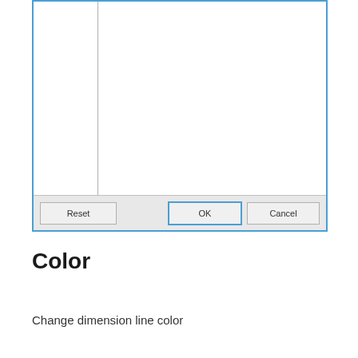[Figure (screenshot): A dialog box showing a two-panel layout with a narrow left panel separated by a vertical line from a larger right panel. The dialog has a bottom toolbar with three buttons: Reset (left-aligned), OK (blue-outlined, right area), and Cancel (rightmost).]
Color
Change dimension line color